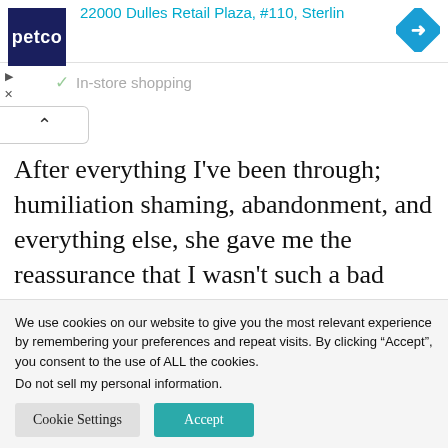22000 Dulles Retail Plaza, #110, Sterlin
[Figure (logo): Petco blue logo with white text reading 'petco']
[Figure (other): Blue diamond navigation arrow icon]
In-store shopping
After everything I've been through; humiliation shaming, abandonment, and everything else, she gave me the reassurance that I wasn't such a bad person after all."
We use cookies on our website to give you the most relevant experience by remembering your preferences and repeat visits. By clicking “Accept”, you consent to the use of ALL the cookies.
Do not sell my personal information.
Cookie Settings
Accept